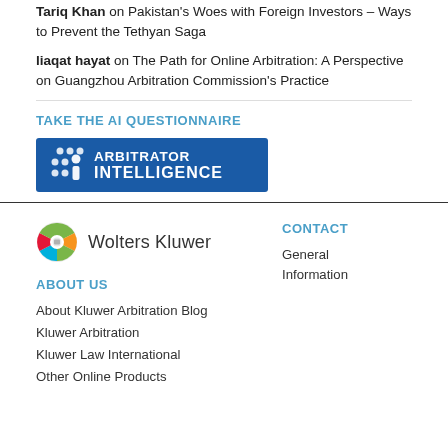Tariq Khan on Pakistan's Woes with Foreign Investors – Ways to Prevent the Tethyan Saga
liaqat hayat on The Path for Online Arbitration: A Perspective on Guangzhou Arbitration Commission's Practice
TAKE THE AI QUESTIONNAIRE
[Figure (logo): Arbitrator Intelligence logo – blue rectangle with dots icon and white bold text 'ARBITRATOR INTELLIGENCE']
[Figure (logo): Wolters Kluwer logo – colorful globe icon with text 'Wolters Kluwer']
CONTACT
General Information
ABOUT US
About Kluwer Arbitration Blog
Kluwer Arbitration
Kluwer Law International
Other Online Products